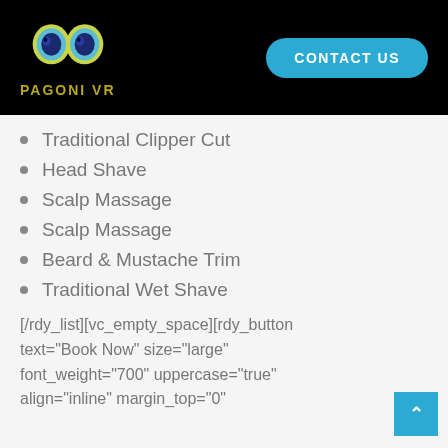PAGONI VR | CONTACT US
Traditional Clipper Cut
Head Shave
Scalp Massage
Scalp Massage
Beard & Mustache Trim
Traditional Wet Shave
[/rdy_list][vc_empty_space][rdy_button text="Book Now" size="large" font_weight="700" uppercase="true" align="inline" margin_top="0"